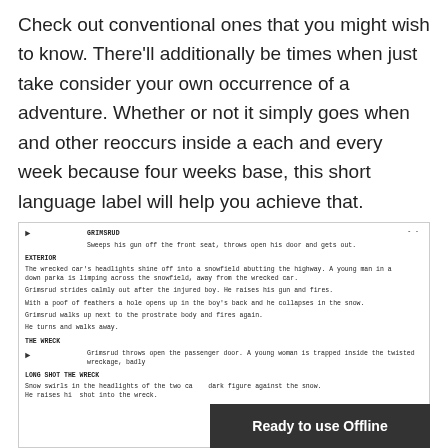Check out conventional ones that you might wish to know. There'll additionally be times when just take consider your own occurrence of a adventure. Whether or not it simply goes when and other reoccurs inside a each and every week because four weeks base, this short language label will help you achieve that.
[Figure (other): Screenplay excerpt showing scenes with GRIMSRUD character. Includes action lines about a gun, a snowfield, a young man in a down parka being shot, and a woman trapped in a wrecked car. Scene headings include EXTERIOR, THE WRECK, LONG SHOT THE WRECK.]
[Figure (screenshot): Dark overlay banner reading 'Ready to use Offline' in white bold text on dark gray background, covering lower right portion of the page.]